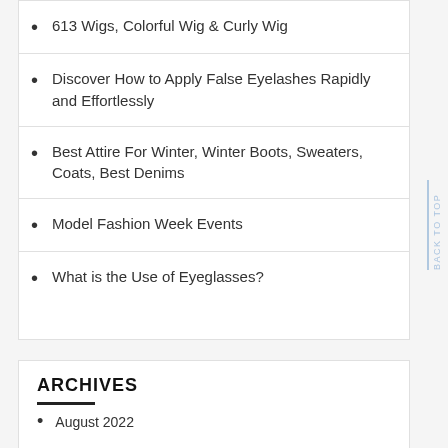613 Wigs, Colorful Wig & Curly Wig
Discover How to Apply False Eyelashes Rapidly and Effortlessly
Best Attire For Winter, Winter Boots, Sweaters, Coats, Best Denims
Model Fashion Week Events
What is the Use of Eyeglasses?
ARCHIVES
August 2022